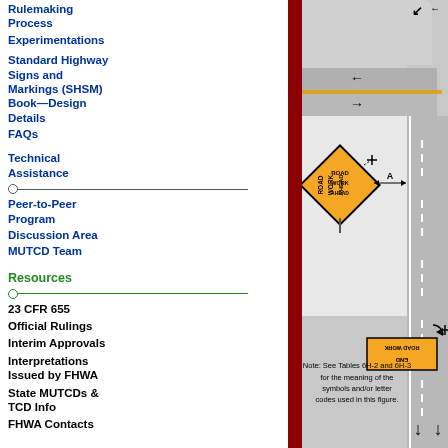Rulemaking Process
Experimentations
Standard Highway Signs and Markings (SHSM) Book—Design Details
FAQs
Technical Assistance
Peer-to-Peer Program
Discussion Area
MUTCD Team
Resources
23 CFR 655
Official Rulings
Interim Approvals
Interpretations Issued by FHWA
State MUTCDs & TCD Info
FHWA Contacts
[Figure (engineering-diagram): Road work zone engineering diagram showing a two-lane road with a ROAD WORK AHEAD diamond sign on the left shoulder, dimension A indicating lateral offset, and an END ROAD WORK rectangular sign further down. Arrows indicate traffic direction. Note references Tables 6H-2 and 6H-3.]
Note: See Tables 6H-2 and 6H-3 for the meaning of the symbols and/or letter codes used in this figure.